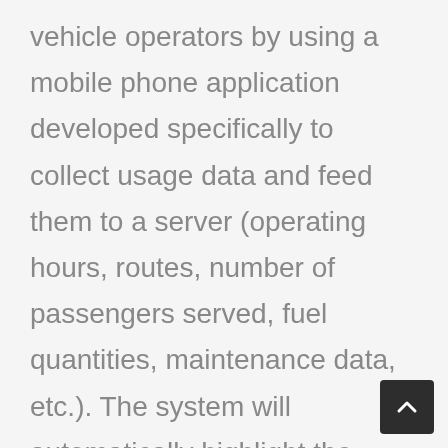vehicle operators by using a mobile phone application developed specifically to collect usage data and feed them to a server (operating hours, routes, number of passengers served, fuel quantities, maintenance data, etc.). The system will automatically highlight the issues in the vehicle fleet by carefully monitoring all vehicles. It is possible that these vehicle fleet issues, which would not have been